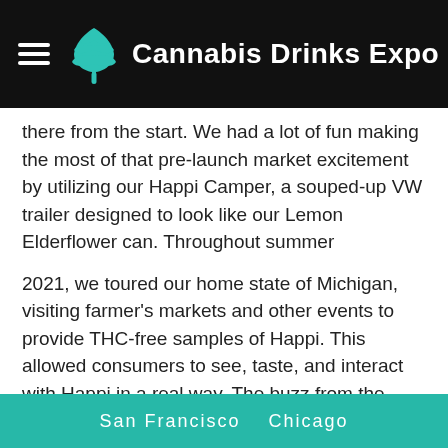Cannabis Drinks Expo
there from the start. We had a lot of fun making the most of that pre-launch market excitement by utilizing our Happi Camper, a souped-up VW trailer designed to look like our Lemon Elderflower can. Throughout summer
2021, we toured our home state of Michigan, visiting farmer's markets and other events to provide THC-free samples of Happi. This allowed consumers to see, taste, and interact with Happi in a real way. The buzz from the Happi camper drove traffic to our dispensary partners, created visibility, and sent people to the Happi website and our social media channels. Not to mention we loved
San Francisco   Chicago